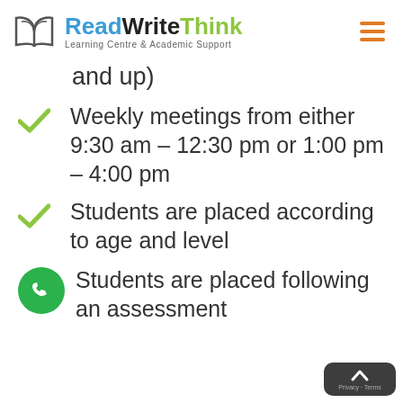[Figure (logo): ReadWriteThink logo with open book icon and tagline 'Learning Centre & Academic Support']
and up)
Weekly meetings from either 9:30 am – 12:30 pm or 1:00 pm – 4:00 pm
Students are placed according to age and level
Students are placed following an assessment